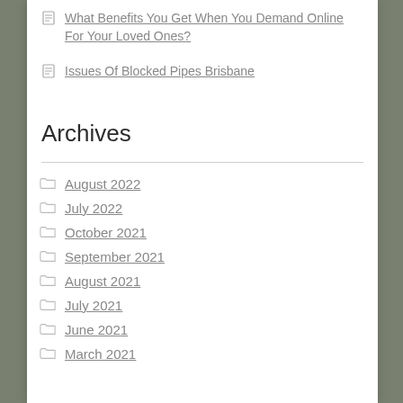What Benefits You Get When You Demand Online For Your Loved Ones?
Issues Of Blocked Pipes Brisbane
Archives
August 2022
July 2022
October 2021
September 2021
August 2021
July 2021
June 2021
March 2021